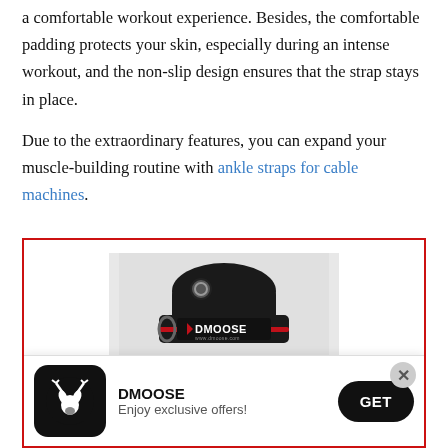a comfortable workout experience. Besides, the comfortable padding protects your skin, especially during an intense workout, and the non-slip design ensures that the strap stays in place.
Due to the extraordinary features, you can expand your muscle-building routine with ankle straps for cable machines.
[Figure (photo): DMoose branded ankle strap product photo inside a red-bordered advertisement box, with a popup notification bar at the bottom showing the DMoose logo, brand name, tagline 'Enjoy exclusive offers!', a GET button, and a close X button.]